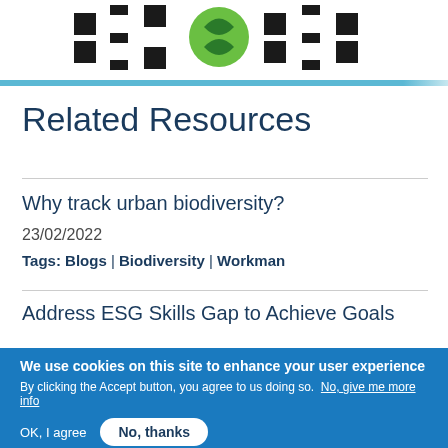[Figure (logo): Organization logo with green leaf/circle icon and black square letter marks on either side]
Related Resources
Why track urban biodiversity?
23/02/2022
Tags: Blogs | Biodiversity | Workman
Address ESG Skills Gap to Achieve Goals
We use cookies on this site to enhance your user experience
By clicking the Accept button, you agree to us doing so. No, give me more info
OK, I agree
No, thanks